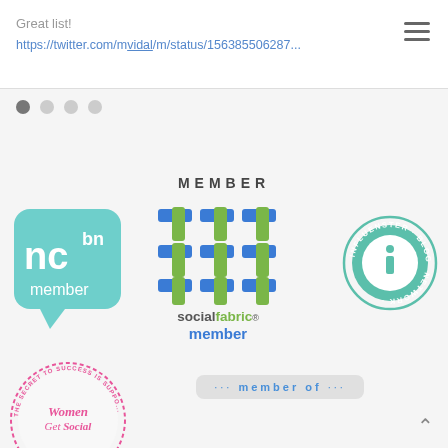Great list!
https://twitter.com/m_vidal/m/status/1563855062879...
[Figure (logo): Four navigation dots, first one darker indicating active state]
MEMBER
[Figure (logo): ncbn member logo - teal speech bubble with nc and bn text and 'member' label]
[Figure (logo): Social Fabric member logo - blue and green woven grid pattern with 'socialfabric member' text]
[Figure (logo): Influenster Blogger Network circular badge logo in teal]
[Figure (logo): Women Get Social circular badge - 'The Secret to Success is Support']
[Figure (logo): Member of badge on grey rounded rectangle background]